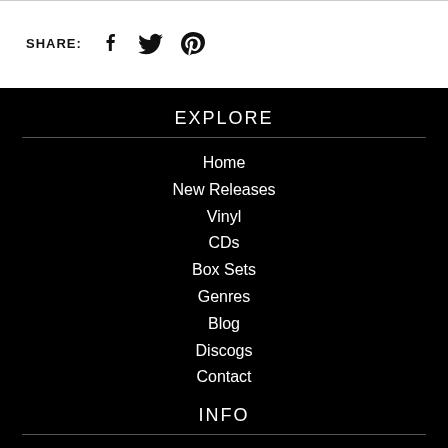SHARE:
EXPLORE
Home
New Releases
Vinyl
CDs
Box Sets
Genres
Blog
Discogs
Contact
INFO
Pre-Loved Grading